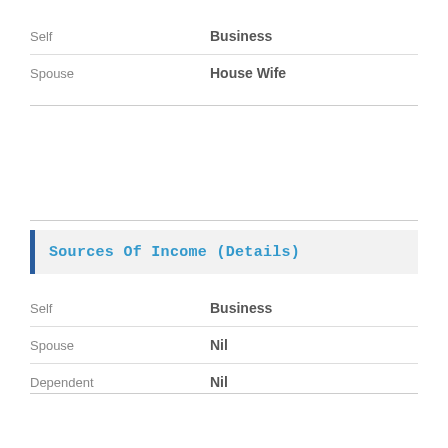|  |  |
| --- | --- |
| Self | Business |
| Spouse | House Wife |
Sources Of Income (Details)
|  |  |
| --- | --- |
| Self | Business |
| Spouse | Nil |
| Dependent | Nil |